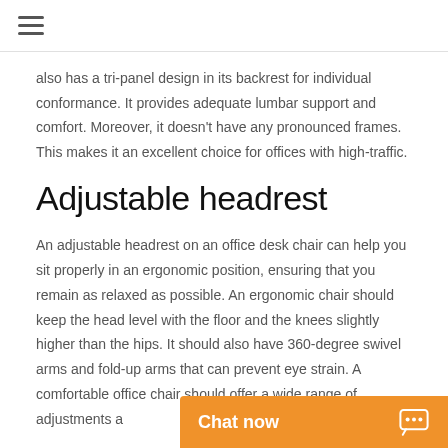☰
also has a tri-panel design in its backrest for individual conformance. It provides adequate lumbar support and comfort. Moreover, it doesn't have any pronounced frames. This makes it an excellent choice for offices with high-traffic.
Adjustable headrest
An adjustable headrest on an office desk chair can help you sit properly in an ergonomic position, ensuring that you remain as relaxed as possible. An ergonomic chair should keep the head level with the floor and the knees slightly higher than the hips. It should also have 360-degree swivel arms and fold-up arms that can prevent eye strain. A comfortable office chair should offer a wide range of adjustments a…
Chat now